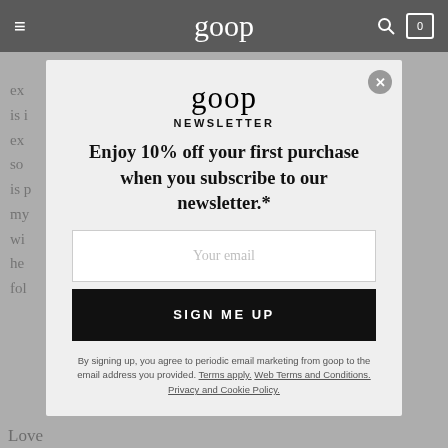goop
[Figure (screenshot): goop website navigation bar with hamburger menu, goop logo in center, search icon and bag icon with 0 on right]
ex  be
is i
ex  e
so  ily
is p  ng
my
wi
he
fol
goop NEWSLETTER
Enjoy 10% off your first purchase when you subscribe to our newsletter.*
Your email
SIGN ME UP
By signing up, you agree to periodic email marketing from goop to the email address you provided. Terms apply. Web Terms and Conditions. Privacy and Cookie Policy.
Love